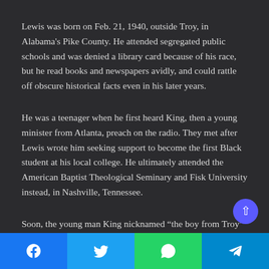Lewis was born on Feb. 21, 1940, outside Troy, in Alabama's Pike County. He attended segregated public schools and was denied a library card because of his race, but he read books and newspapers avidly, and could rattle off obscure historical facts even in his later years.
He was a teenager when he first heard King, then a young minister from Atlanta, preach on the radio. They met after Lewis wrote him seeking support to become the first Black student at his local college. He ultimately attended the American Baptist Theological Seminary and Fisk University instead, in Nashville, Tennessee.
Soon, the young man King nicknamed “the boy from Troy” was organizing sit-ins at whites-only lunch counters and